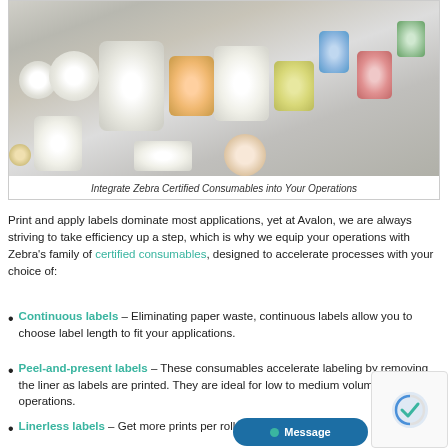[Figure (photo): Multiple rolls of Zebra label consumables of various sizes and colors arranged together]
Integrate Zebra Certified Consumables into Your Operations
Print and apply labels dominate most applications, yet at Avalon, we are always striving to take efficiency up a step, which is why we equip your operations with Zebra's family of certified consumables, designed to accelerate processes with your choice of:
Continuous labels – Eliminating paper waste, continuous labels allow you to choose label length to fit your applications.
Peel-and-present labels – These consumables accelerate labeling by removing the liner as labels are printed. They are ideal for low to medium volume operations.
Linerless labels – Get more prints per roll with a label that has no liner at all. This is ideal for mobile printers since it